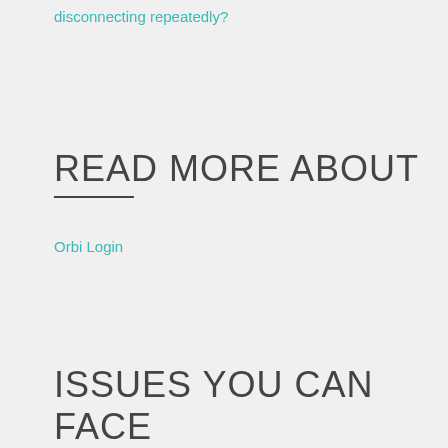disconnecting repeatedly?
READ MORE ABOUT
Orbi Login
ISSUES YOU CAN FACE